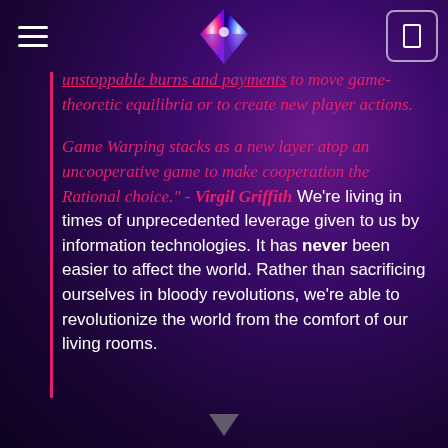Navigation header with hamburger menu, diamond logo, and nav button
unstoppable burns and payments to move game-theoretic equilibria or to create new player actions.

Game Warping stacks as a new layer atop an uncooperative game to make cooperation the Rational choice." - Virgil Griffith We're living in times of unprecedented leverage given to us by information technologies. It has never been easier to affect the world. Rather than sacrificing ourselves in bloody revolutions, we're able to revolutionize the world from the comfort of our living rooms.